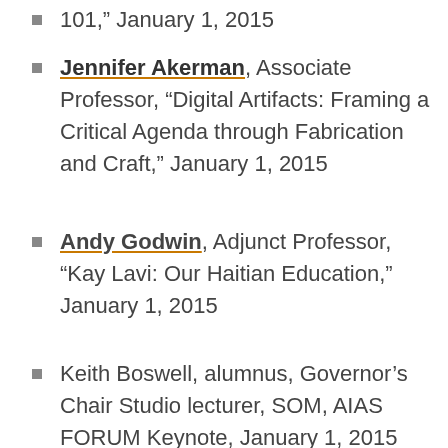101,” January 1, 2015
Jennifer Akerman, Associate Professor, “Digital Artifacts: Framing a Critical Agenda through Fabrication and Craft,” January 1, 2015
Andy Godwin, Adjunct Professor, “Kay Lavi: Our Haitian Education,” January 1, 2015
Keith Boswell, alumnus, Governor’s Chair Studio lecturer, SOM, AIAS FORUM Keynote, January 1, 2015
The massive event, welcoming nearly 800 students, took a year of planning by six core students: